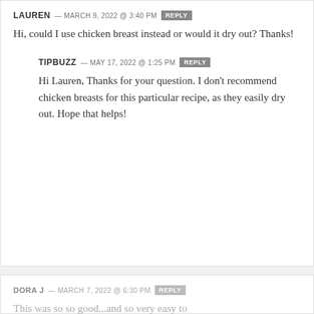LAUREN — MARCH 9, 2022 @ 3:40 PM [REPLY]
Hi, could I use chicken breast instead or would it dry out? Thanks!
TIPBUZZ — MAY 17, 2022 @ 1:25 PM [REPLY]
Hi Lauren, Thanks for your question. I don't recommend chicken breasts for this particular recipe, as they easily dry out. Hope that helps!
DORA J — MARCH 7, 2022 @ 6:30 PM [REPLY]
This was so so good...and so very easy to